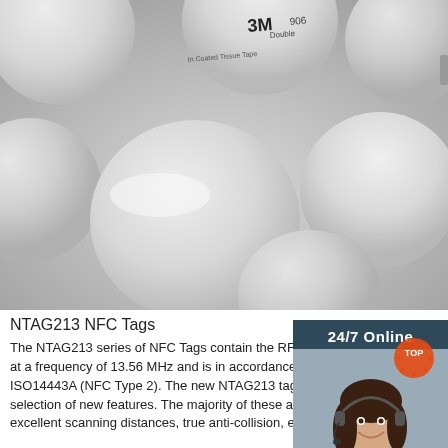[Figure (photo): Multiple white circular NFC tag/coin discs arranged on a light gray surface. One disc shows a 3M 906 Double Coated Tissue Tape backing.]
[Figure (illustration): Customer service sidebar widget: dark teal background with '24/7 Online' heading, photo of smiling woman with headset, 'Click here for free chat!' call-to-action text, and orange QUOTATION button.]
NTAG213 NFC Tags
The NTAG213 series of NFC Tags contain the RFID chip which operates at a frequency of 13.56 MHz and is in accordance with the standard ISO14443A (NFC Type 2). The new NTAG213 tags series contains a selection of new features. The majority of these are password protection, excellent scanning distances, true anti-collision, etc. Ntag 213 NFC tag ...